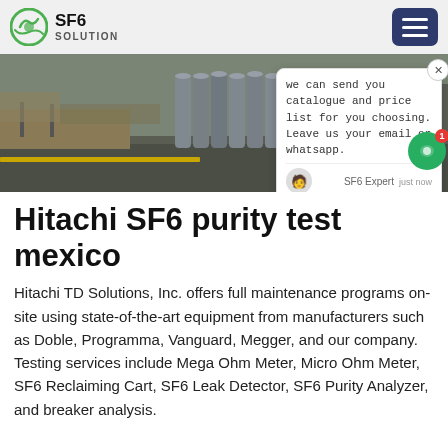SF6 SOLUTION
[Figure (photo): Outdoor photo showing rows of tall grey industrial gas cylinders/tanks arranged on pavement near a roadway, with a truck visible on the right edge. The word 'ina' is partially visible in orange text overlay at bottom right.]
Hitachi SF6 purity test mexico
Hitachi TD Solutions, Inc. offers full maintenance programs on-site using state-of-the-art equipment from manufacturers such as Doble, Programma, Vanguard, Megger, and our company. Testing services include Mega Ohm Meter, Micro Ohm Meter, SF6 Reclaiming Cart, SF6 Leak Detector, SF6 Purity Analyzer, and breaker analysis.